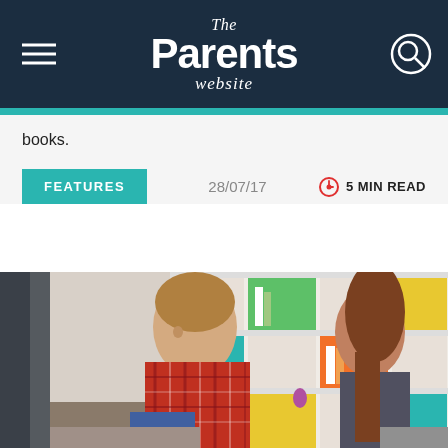The Parents website
books.
FEATURES   28/07/17   5 MIN READ
[Figure (photo): A young boy in a red plaid shirt sitting on a woman's lap, both smiling at each other, with a colorful bookshelf in the background.]